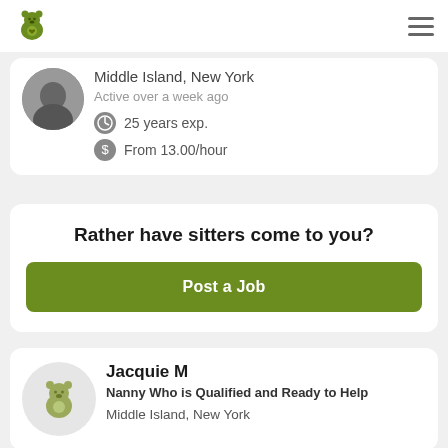App navigation bar with bear logo and hamburger menu
Middle Island, New York
Active over a week ago
25 years exp.
From 13.00/hour
Rather have sitters come to you?
Post a Job
Jacquie M
Nanny Who is Qualified and Ready to Help
Middle Island, New York